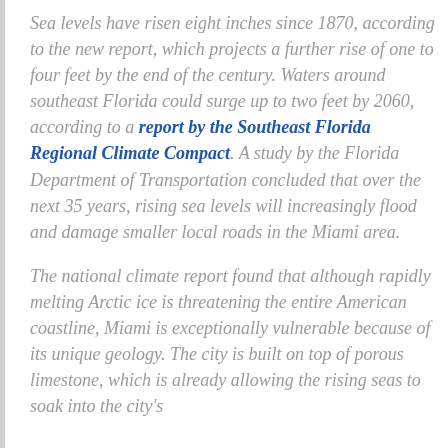Sea levels have risen eight inches since 1870, according to the new report, which projects a further rise of one to four feet by the end of the century. Waters around southeast Florida could surge up to two feet by 2060, according to a report by the Southeast Florida Regional Climate Compact. A study by the Florida Department of Transportation concluded that over the next 35 years, rising sea levels will increasingly flood and damage smaller local roads in the Miami area.
The national climate report found that although rapidly melting Arctic ice is threatening the entire American coastline, Miami is exceptionally vulnerable because of its unique geology. The city is built on top of porous limestone, which is already allowing the rising seas to soak into the city's